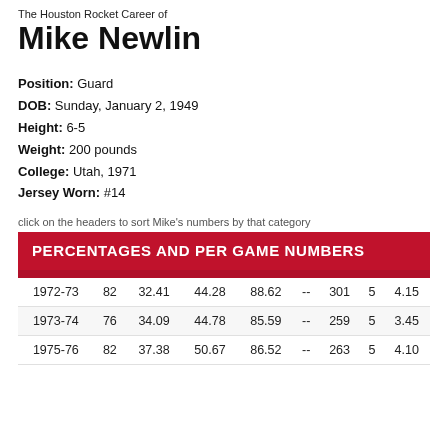The Houston Rocket Career of Mike Newlin
Position: Guard
DOB: Sunday, January 2, 1949
Height: 6-5
Weight: 200 pounds
College: Utah, 1971
Jersey Worn: #14
click on the headers to sort Mike's numbers by that category
|  |  |  |  |  |  |  |  |  |
| --- | --- | --- | --- | --- | --- | --- | --- | --- |
| 1972-73 | 82 | 32.41 | 44.28 | 88.62 | -- | 301 | 5 | 4.15 |
| 1973-74 | 76 | 34.09 | 44.78 | 85.59 | -- | 259 | 5 | 3.45 |
| 1975-76 | 82 | 37.38 | 50.67 | 86.52 | -- | 263 | 5 | 4.10 |